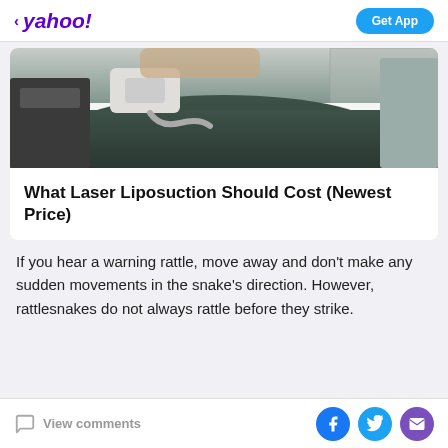< yahoo! | Get App
[Figure (photo): Person lying on treatment table receiving a body contouring or liposuction-related procedure, with a medical device applying treatment to their lower body area. The room appears clinical with white and dark equipment visible.]
What Laser Liposuction Should Cost (Newest Price)
If you hear a warning rattle, move away and don't make any sudden movements in the snake's direction. However, rattlesnakes do not always rattle before they strike.
View comments | Facebook share | Twitter share | Email share